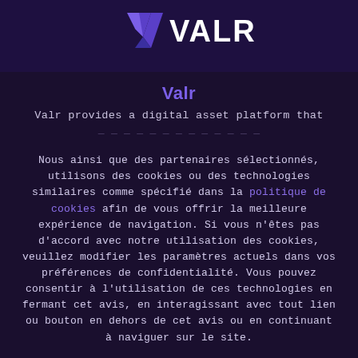[Figure (logo): VALR logo with purple chevron/V icon and VALR text in white capital letters on dark purple background]
Valr
Valr provides a digital asset platform that
Nous ainsi que des partenaires sélectionnés, utilisons des cookies ou des technologies similaires comme spécifié dans la politique de cookies afin de vous offrir la meilleure expérience de navigation. Si vous n'êtes pas d'accord avec notre utilisation des cookies, veuillez modifier les paramètres actuels dans vos préférences de confidentialité. Vous pouvez consentir à l'utilisation de ces technologies en fermant cet avis, en interagissant avec tout lien ou bouton en dehors de cet avis ou en continuant à naviguer sur le site.
ACCEPTER LES COOKIES